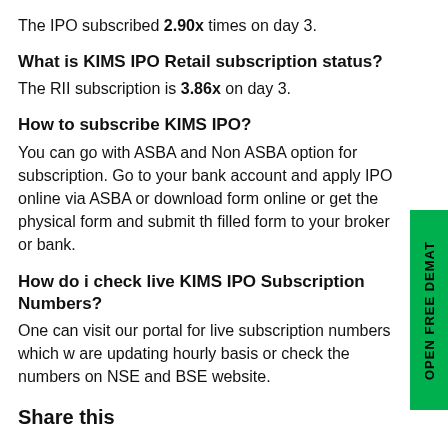The IPO subscribed 2.90x times on day 3.
What is KIMS IPO Retail subscription status?
The RII subscription is 3.86x on day 3.
How to subscribe KIMS IPO?
You can go with ASBA and Non ASBA option for subscription. Go to your bank account and apply IPO online via ASBA or download form online or get the physical form and submit the filled form to your broker or bank.
How do i check live KIMS IPO Subscription Numbers?
One can visit our portal for live subscription numbers which we are updating hourly basis or check the numbers on NSE and BSE website.
Share this